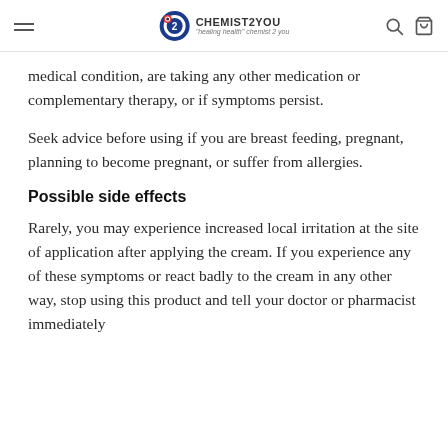CHEMIST2YOU
medical condition, are taking any other medication or complementary therapy, or if symptoms persist.
Seek advice before using if you are breast feeding, pregnant, planning to become pregnant, or suffer from allergies.
Possible side effects
Rarely, you may experience increased local irritation at the site of application after applying the cream. If you experience any of these symptoms or react badly to the cream in any other way, stop using this product and tell your doctor or pharmacist immediately